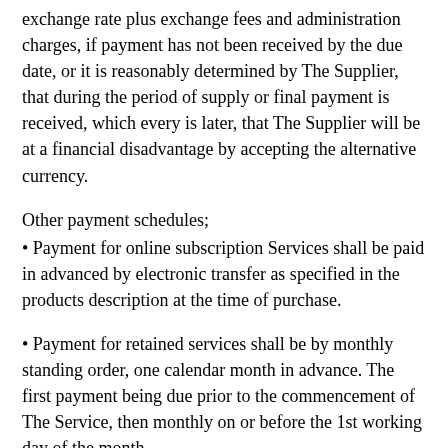exchange rate plus exchange fees and administration charges, if payment has not been received by the due date, or it is reasonably determined by The Supplier, that during the period of supply or final payment is received, which every is later, that The Supplier will be at a financial disadvantage by accepting the alternative currency.
Other payment schedules;
• Payment for online subscription Services shall be paid in advanced by electronic transfer as specified in the products description at the time of purchase.
• Payment for retained services shall be by monthly standing order, one calendar month in advance. The first payment being due prior to the commencement of The Service, then monthly on or before the 1st working day of the month.
• Payment for subscription services are due one calendar